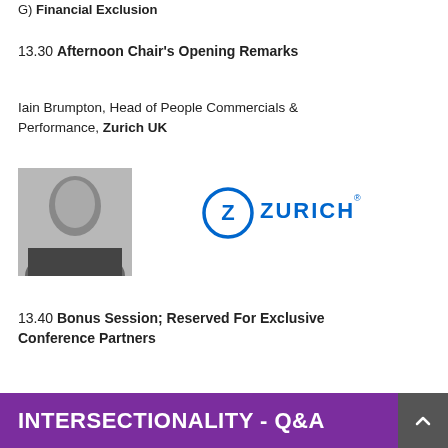G) Financial Exclusion
13.30 Afternoon Chair's Opening Remarks
Iain Brumpton, Head of People Commercials & Performance, Zurich UK
[Figure (photo): Black and white headshot photo of Iain Brumpton]
[Figure (logo): Zurich Insurance Group logo - blue circular Z icon with ZURICH text]
13.40 Bonus Session; Reserved For Exclusive Conference Partners
INTERSECTIONALITY - Q&A